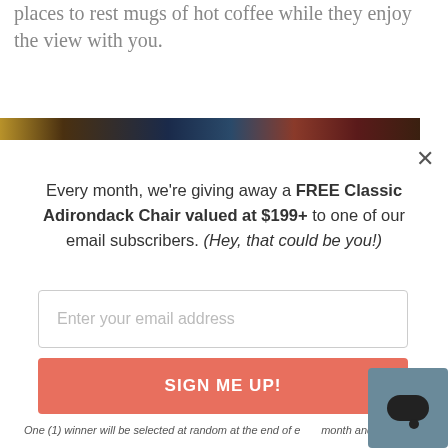places to rest mugs of hot coffee while they enjoy the view with you.
[Figure (photo): Horizontal photo strip showing outdoor scenes with warm and dark tones]
Every month, we're giving away a FREE Classic Adirondack Chair valued at $199+ to one of our email subscribers. (Hey, that could be you!)
Enter your email address
SIGN ME UP!
One (1) winner will be selected at random at the end of each month and contacted by email. U.S. entrants only.